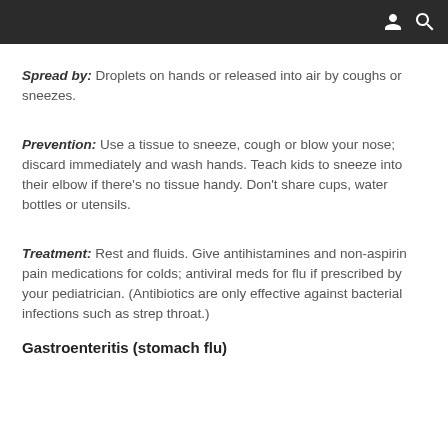Spread by: Droplets on hands or released into air by coughs or sneezes.
Prevention: Use a tissue to sneeze, cough or blow your nose; discard immediately and wash hands. Teach kids to sneeze into their elbow if there’s no tissue handy. Don’t share cups, water bottles or utensils.
Treatment: Rest and fluids. Give antihistamines and non-aspirin pain medications for colds; antiviral meds for flu if prescribed by your pediatrician. (Antibiotics are only effective against bacterial infections such as strep throat.)
Gastroenteritis (stomach flu)